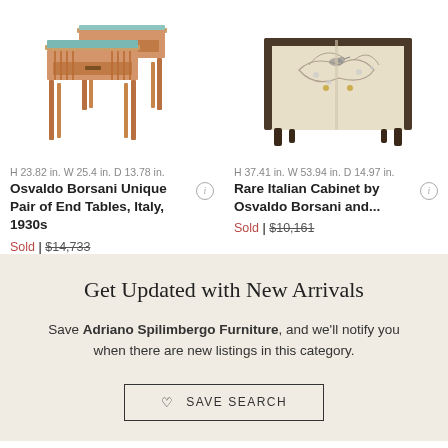[Figure (photo): Photo of Osvaldo Borsani Unique Pair of End Tables, mid-century Italian furniture with walnut legs and teal/blue glass tops]
H 23.82 in. W 25.4 in. D 13.78 in.
Osvaldo Borsani Unique Pair of End Tables, Italy, 1930s
Sold | $14,733
[Figure (photo): Photo of Rare Italian Cabinet by Osvaldo Borsani, cream/ivory cabinet with floral painted decoration and dark legs]
H 37.41 in. W 53.94 in. D 14.97 in.
Rare Italian Cabinet by Osvaldo Borsani and...
Sold | $10,161
Get Updated with New Arrivals
Save Adriano Spilimbergo Furniture, and we'll notify you when there are new listings in this category.
SAVE SEARCH